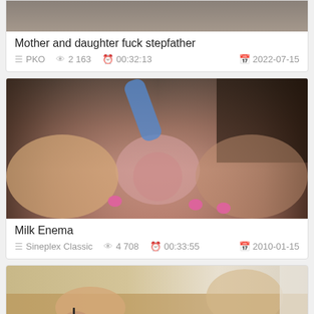[Figure (photo): Thumbnail image for first video card (partially visible at top)]
Mother and daughter fuck stepfather
PKO  2 163  00:32:13  2022-07-15
[Figure (photo): Thumbnail image for Milk Enema video]
Milk Enema
Sineplex Classic  4 708  00:33:55  2010-01-15
[Figure (photo): Thumbnail image for third video card (partially visible at bottom)]